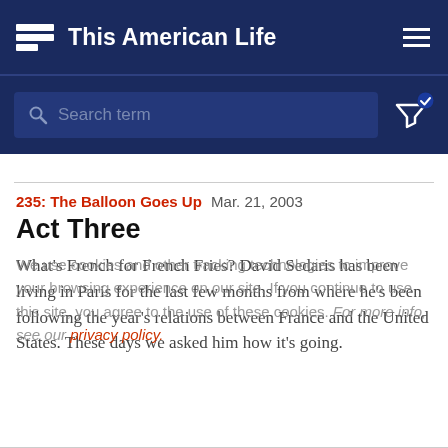This American Life
[Figure (screenshot): Search bar with magnifying glass icon and placeholder text 'Search term', with filter icon and checkmark badge on dark navy background]
235: The Balloon Goes Up  Mar. 21, 2003
Act Three
What's French for French Fries? David Sedaris has been living in Paris for the last few months from where he's been following the year's relations between France and the United States. These days we asked him how it's going.
We use cookies and other tracking technologies to improve your browsing experience on our site. If you continue to use this site, you agree to the use of these cookies. For more info, see our privacy policy.